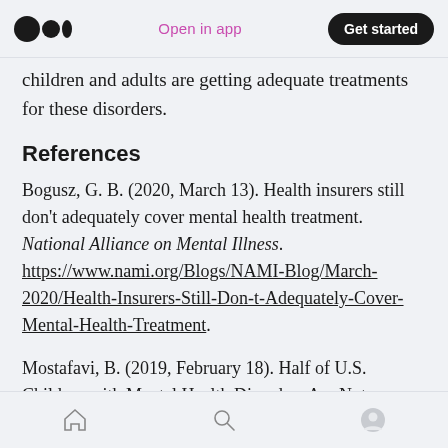Medium app header — Open in app | Get started
children and adults are getting adequate treatments for these disorders.
References
Bogusz, G. B. (2020, March 13). Health insurers still don't adequately cover mental health treatment. National Alliance on Mental Illness. https://www.nami.org/Blogs/NAMI-Blog/March-2020/Health-Insurers-Still-Don-t-Adequately-Cover-Mental-Health-Treatment.
Mostafavi, B. (2019, February 18). Half of U.S. Children with Mental Health Disorders Are Not
Bottom navigation bar — Home | Search | Profile